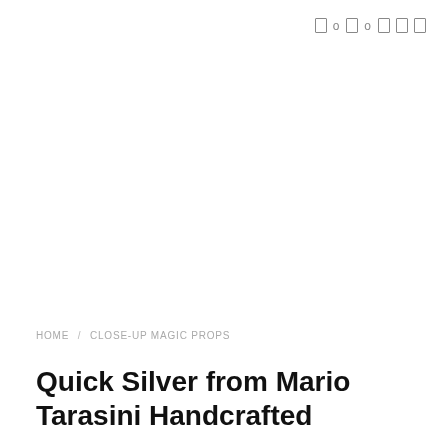0 0
HOME / CLOSE-UP MAGIC PROPS
Quick Silver from Mario Tarasini Handcrafted